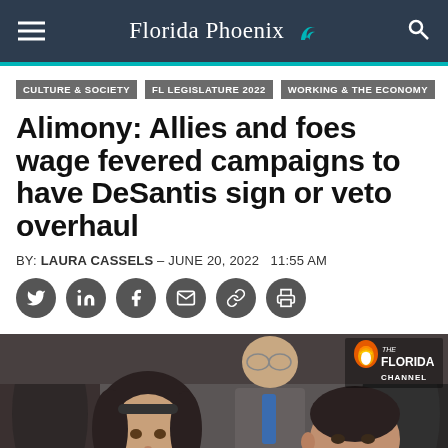Florida Phoenix
CULTURE & SOCIETY
FL LEGISLATURE 2022
WORKING & THE ECONOMY
Alimony: Allies and foes wage fevered campaigns to have DeSantis sign or veto overhaul
BY: LAURA CASSELS – JUNE 20, 2022   11:55 AM
[Figure (photo): Two people seated at a hearing table. A woman with dark shoulder-length hair appears to be speaking; a man with short dark hair rests his chin on his hand. Behind them a bald man in a blue tie looks on. The Florida Channel logo is visible in the upper right.]